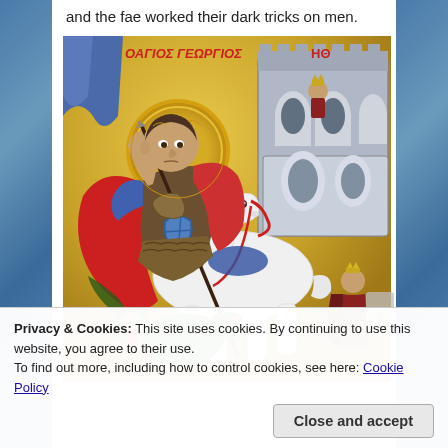and the fae worked their dark tricks on men.
[Figure (illustration): Byzantine-style icon painting of Saint George (Ο Άγιος Γεώργιος) on a white horse, slaying a dragon with a lance. Red-cloaked warrior with halo and golden ornamental background. A castle with figures is visible on the right side. Greek text reads ΟΑΓΙΟΣ ΓΕΩΡΓΙΟΣ and ΗΘ.]
Privacy & Cookies: This site uses cookies. By continuing to use this website, you agree to their use.
To find out more, including how to control cookies, see here: Cookie Policy
Close and accept